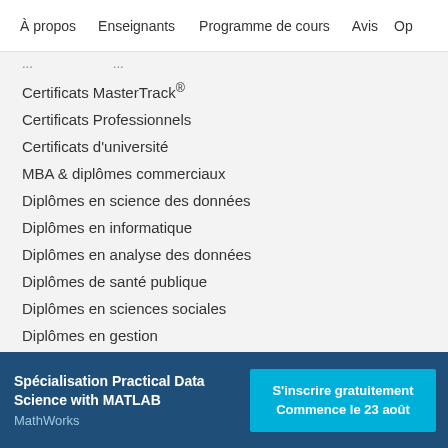À propos   Enseignants   Programme de cours   Avis   Op
Certificats MasterTrack®
Certificats Professionnels
Certificats d'université
MBA & diplômes commerciaux
Diplômes en science des données
Diplômes en informatique
Diplômes en analyse des données
Diplômes de santé publique
Diplômes en sciences sociales
Diplômes en gestion
Spécialisation Practical Data Science with MATLAB
MathWorks
S'inscrire gratuitement
Commence le 23 août